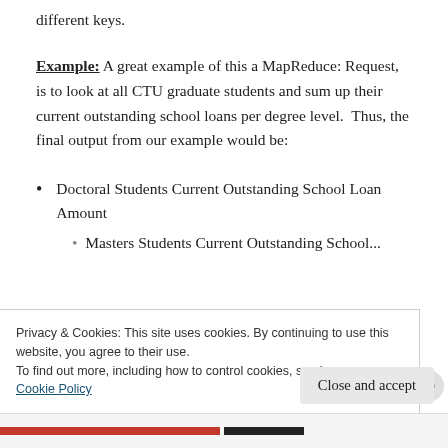different keys.
Example: A great example of this a MapReduce: Request, is to look at all CTU graduate students and sum up their current outstanding school loans per degree level.  Thus, the final output from our example would be:
Doctoral Students Current Outstanding School Loan Amount
Masters Students Current Outstanding School...
Privacy & Cookies: This site uses cookies. By continuing to use this website, you agree to their use.
To find out more, including how to control cookies, see here:
Cookie Policy
Close and accept